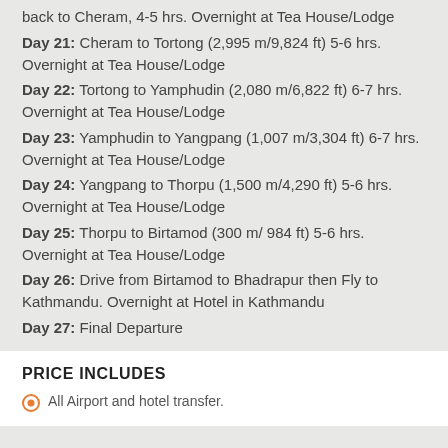back to Cheram, 4-5 hrs. Overnight at Tea House/Lodge
Day 21: Cheram to Tortong (2,995 m/9,824 ft) 5-6 hrs. Overnight at Tea House/Lodge
Day 22: Tortong to Yamphudin (2,080 m/6,822 ft) 6-7 hrs. Overnight at Tea House/Lodge
Day 23: Yamphudin to Yangpang (1,007 m/3,304 ft) 6-7 hrs. Overnight at Tea House/Lodge
Day 24: Yangpang to Thorpu (1,500 m/4,290 ft) 5-6 hrs. Overnight at Tea House/Lodge
Day 25: Thorpu to Birtamod (300 m/ 984 ft) 5-6 hrs. Overnight at Tea House/Lodge
Day 26: Drive from Birtamod to Bhadrapur then Fly to Kathmandu. Overnight at Hotel in Kathmandu
Day 27: Final Departure
PRICE INCLUDES
All Airport and hotel transfer.